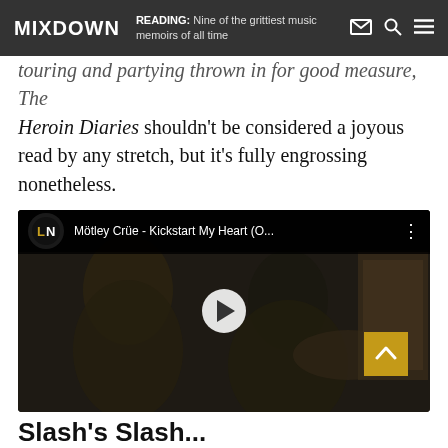MIXDOWN | READING: Nine of the grittiest music memoirs of all time
touring and partying thrown in for good measure, The Heroin Diaries shouldn't be considered a joyous read by any stretch, but it's fully engrossing nonetheless.
[Figure (screenshot): Embedded YouTube video thumbnail: Mötley Crüe - Kickstart My Heart (O...) with play button overlay. Shows two band members in a dark setting.]
Slash's Slash...